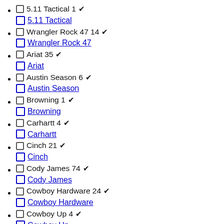5.11 Tactical 1 ✓ [checkbox] 5.11 Tactical
Wrangler Rock 47 14 ✓ [checkbox] Wrangler Rock 47
Ariat 35 ✓ [checkbox] Ariat
Austin Season 6 ✓ [checkbox] Austin Season
Browning 1 ✓ [checkbox] Browning
Carhartt 4 ✓ [checkbox] Carhartt
Cinch 21 ✓ [checkbox] Cinch
Cody James 74 ✓ [checkbox] Cody James
Cowboy Hardware 24 ✓ [checkbox] Cowboy Hardware
Cowboy Up 4 ✓ [checkbox] Cowboy Up
View All Brands
Dakota Grizzly 2 ✓ [checkbox] Dakota Grizzly